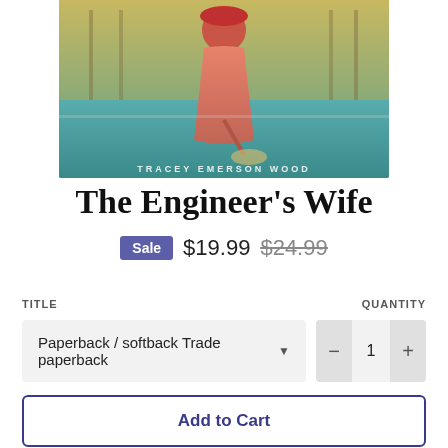[Figure (photo): Book cover of 'The Engineer's Wife' by Tracey Emerson Wood, showing a woman in a pink/red dress on what appears to be a bridge, with a teal/turquoise water background and golden-toned sky]
The Engineer's Wife
Sale $19.99 $24.99
TITLE
QUANTITY
Paperback / softback Trade paperback
1
Add to Cart